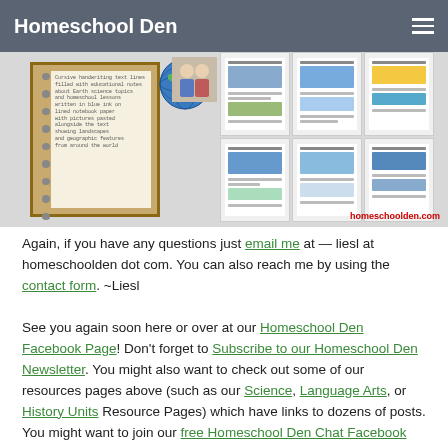Homeschool Den
[Figure (photo): Collage of homeschool resource worksheet pages with globe, notebook, and educational images about Earth science topics. Watermark: homeschoolden.com]
Again, if you have any questions just email me at — liesl at homeschoolden dot com.  You can also reach me by using the contact form. ~Liesl
See you again soon here or over at our Homeschool Den Facebook Page! Don't forget to Subscribe to our Homeschool Den Newsletter. You might also want to check out some of our resources pages above (such as our Science, Language Arts, or History Units Resource Pages) which have links to dozens of posts.  You might want to join our free Homeschool Den Chat Facebook group.  Don't forget to check out Our Store as well.